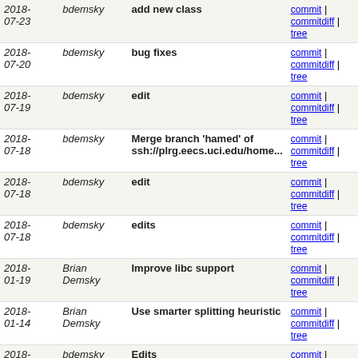| Date | Author | Message | Links |
| --- | --- | --- | --- |
| 2018-07-23 | bdemsky | add new class | commit | commitdiff | tree |
| 2018-07-20 | bdemsky | bug fixes | commit | commitdiff | tree |
| 2018-07-19 | bdemsky | edit | commit | commitdiff | tree |
| 2018-07-18 | bdemsky | Merge branch 'hamed' of ssh://plrg.eecs.uci.edu/home... | commit | commitdiff | tree |
| 2018-07-18 | bdemsky | edit | commit | commitdiff | tree |
| 2018-07-18 | bdemsky | edits | commit | commitdiff | tree |
| 2018-01-19 | Brian Demsky | Improve libc support | commit | commitdiff | tree |
| 2018-01-14 | Brian Demsky | Use smarter splitting heuristic | commit | commitdiff | tree |
| 2018-01-14 | bdemsky | Edits | commit | commitdiff | tree |
| 2018-01-11 | bdemsky | Bug fixes | commit | commitdiff | tree |
| 2018-01-10 | Brian Demsky | Runs | commit | commitdiff | tree |
| 2018-01-08 | Brian Demsky | edits | commit | commitdiff | tree |
| 2018-01-06 | Brian Demsky | Reduce unnecessary vector alloc/free | commit | commitdiff | tree |
| 2018- | Brian | Bug fixes | commit | |